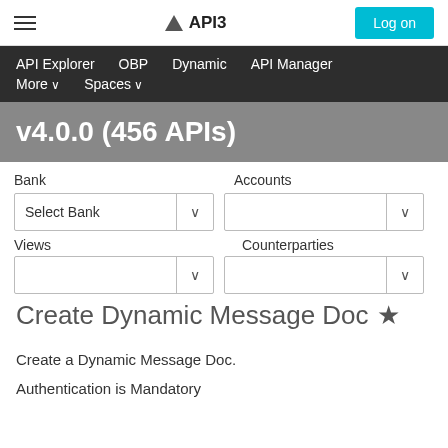API3 — Log on
API Explorer  OBP  Dynamic  API Manager  More  Spaces
v4.0.0 (456 APIs)
Bank | Accounts | Views | Counterparties — dropdown filters
Create Dynamic Message Doc ★
Create a Dynamic Message Doc.
Authentication is Mandatory